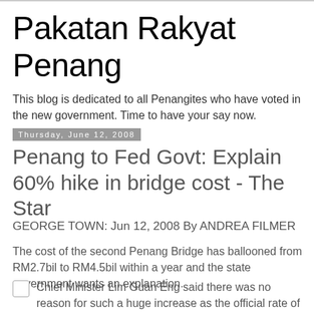Pakatan Rakyat Penang
This blog is dedicated to all Penangites who have voted in the new government. Time to have your say now.
Thursday, June 12, 2008
Penang to Fed Govt: Explain 60% hike in bridge cost - The Star
GEORGE TOWN: Jun 12, 2008 By ANDREA FILMER
The cost of the second Penang Bridge has ballooned from RM2.7bil to RM4.5bil within a year and the state government wants an explanation.
Chief Minister Lim Guan Eng said there was no reason for such a huge increase as the official rate of inflation in 2007 was around 2.3%.